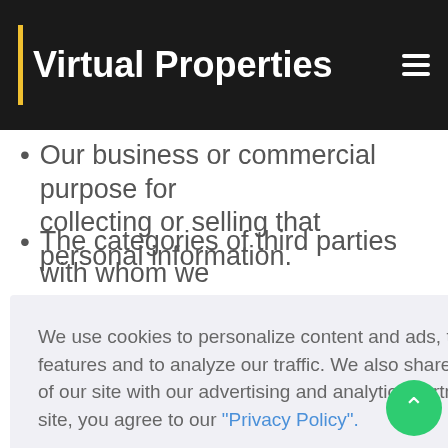Virtual Properties
The categories of sources for the personal information we collected about you.
Our business or commercial purpose for collecting or selling that personal information.
The categories of third parties with whom we share that personal information.
ormation we ata portability
nal information ate lists
al information y of recipient
urpose, rmation y of recipie
obtained
We use cookies to personalize content and ads, to provide social media features and to analyze our traffic. We also share information about your use of our site with our advertising and analytics partners. By continuing to use our site, you agree to our "Privacy Policy".
Allow cookies
Dismiss
Cookie Preferences